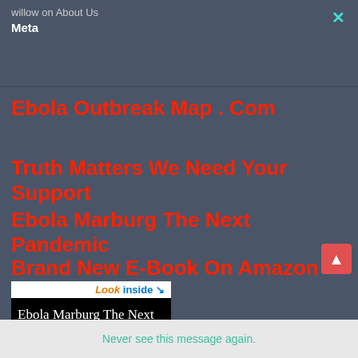willow on About Us
Meta
×
Ebola Outbreak Map . Com
Truth Matters  We Need Your Support
Ebola Marburg The Next Pandemic
Brand New E-Book On Amazon
[Figure (photo): Book cover for 'Ebola Marburg The Next Pandemic - Ebola Outbreak Map . Com' by Jacob Joseph, showing 'Look inside' Amazon badge at top]
Never see this message again.